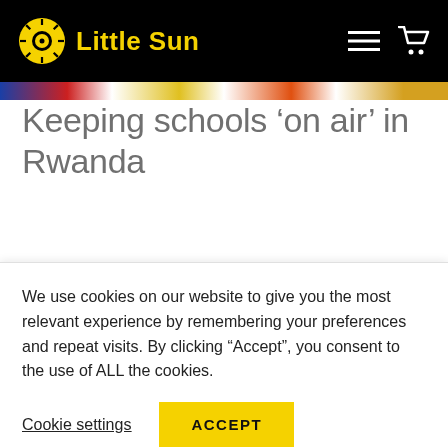Little Sun
[Figure (illustration): Colorful image strip below the black header navigation bar]
Keeping schools ‘on air’ in Rwanda
We use cookies on our website to give you the most relevant experience by remembering your preferences and repeat visits. By clicking “Accept”, you consent to the use of ALL the cookies.
Cookie settings | ACCEPT